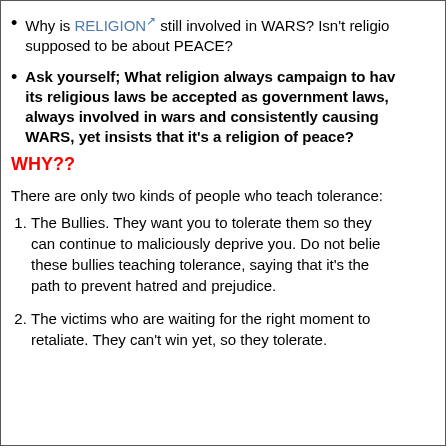Why is RELIGION [link] still involved in WARS? Isn't religion supposed to be about PEACE?
Ask yourself; What religion always campaign to have its religious laws be accepted as government laws, always involved in wars and consistently causing WARS, yet insists that it's a religion of peace?
WHY??
There are only two kinds of people who teach tolerance:
The Bullies. They want you to tolerate them so they can continue to maliciously deprive you. Do not believe these bullies teaching tolerance, saying that it's the path to prevent hatred and prejudice.
The victims who are waiting for the right moment to retaliate. They can't win yet, so they tolerate.